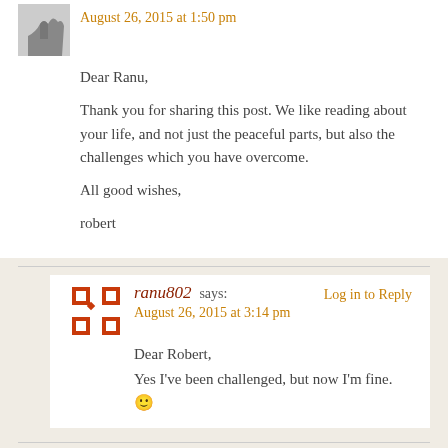August 26, 2015 at 1:50 pm
Dear Ranu,

Thank you for sharing this post. We like reading about your life, and not just the peaceful parts, but also the challenges which you have overcome.

All good wishes,

robert
ranu802 says:
August 26, 2015 at 3:14 pm
Log in to Reply
Dear Robert,
Yes I've been challenged, but now I'm fine. 🙂
Leave a Reply